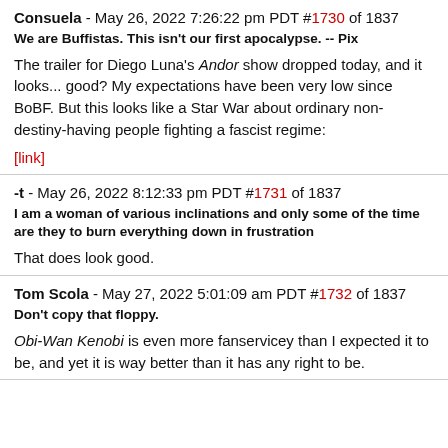Consuela - May 26, 2022 7:26:22 pm PDT #1730 of 1837
We are Buffistas. This isn't our first apocalypse. -- Pix
The trailer for Diego Luna's Andor show dropped today, and it looks... good? My expectations have been very low since BoBF. But this looks like a Star War about ordinary non-destiny-having people fighting a fascist regime:
[link]
-t - May 26, 2022 8:12:33 pm PDT #1731 of 1837
I am a woman of various inclinations and only some of the time are they to burn everything down in frustration
That does look good.
Tom Scola - May 27, 2022 5:01:09 am PDT #1732 of 1837
Don't copy that floppy.
Obi-Wan Kenobi is even more fanservicey than I expected it to be, and yet it is way better than it has any right to be.